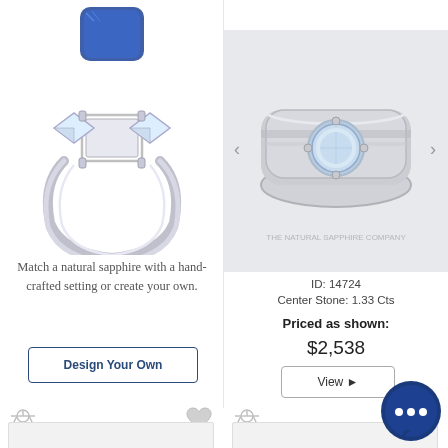[Figure (photo): Jewelry product photo showing a ring setting with a blue sapphire stone floating above, white gold band with two small princess cut diamonds on each side]
Match a natural sapphire with a hand-crafted setting or create your own.
Design Your Own
[Figure (photo): Jewelry product photo of a white gold solitaire ring with a light blue/grey round sapphire stone, shown from above with The Natural Sapphire Company watermark]
ID: 14724
Center Stone: 1.33 Cts
Priced as shown:
$2,538
View ▶
[Figure (illustration): Chat bubble icon with three dots, dark blue circle]
[Figure (illustration): Scales/compare icon, light grey, bottom left]
[Figure (illustration): Heart icon, light grey, bottom left]
[Figure (illustration): Scales/compare icon, light grey, bottom right]
[Figure (illustration): Heart icon, light grey, bottom right]